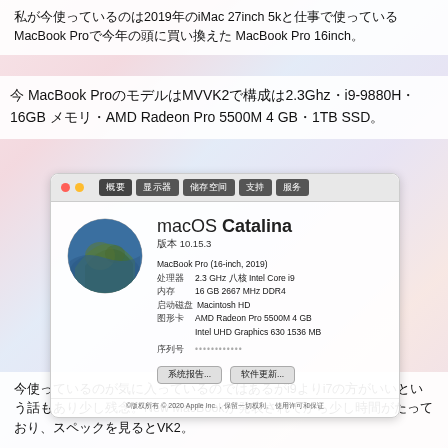私が今使っているのは2019年のiMac 27inch 5kと仕事で使っている MacBook Proで今年の頭に買い換えた MacBook Pro 16inch。
今の MacBook ProはモデルがMVVK2で構成は2.3Ghz・i9-9880H・16GB メモリ・AMD Radeon Pro 5500M 4 GB・1TB SSD。
[Figure (screenshot): macOS Catalina About This Mac dialog showing MacBook Pro (16-inch, 2019), version 10.15.3, 2.3 GHz 八核 Intel Core i9, 16 GB 2667 MHz DDR4, Macintosh HD, AMD Radeon Pro 5500M 4 GB, Intel UHD Graphics 630 1536 MB]
今の環境はすごく気に入ってるがi9よりi7の方がいいという話もあり少し残念。New MacBookが発表されてから少し時間がたっており、スペックを見るとVK2。